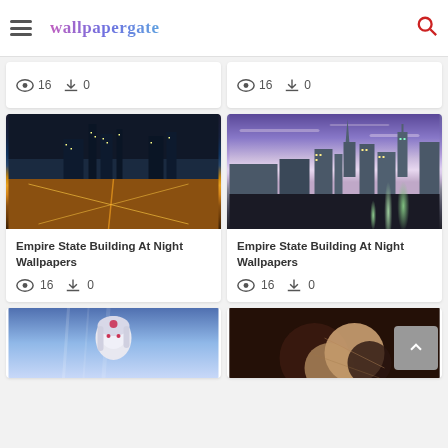wallpapergate
[Figure (screenshot): Partial card showing views:16 downloads:0]
[Figure (screenshot): Partial card showing views:16 downloads:0]
[Figure (photo): Aerial night view of New York City cityscape with glowing orange street lights]
Empire State Building At Night Wallpapers
16   0
[Figure (photo): New York City skyline at dusk with purple sky, Chrysler Building prominent]
Empire State Building At Night Wallpapers
16   0
[Figure (illustration): Anime character with white/silver hair]
[Figure (illustration): Abstract dark background with circular shapes in brown/tan tones]